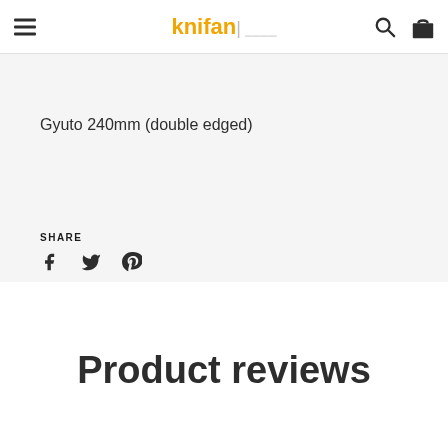knifan | [logo]
Gyuto 240mm (double edged)
SHARE
Product reviews